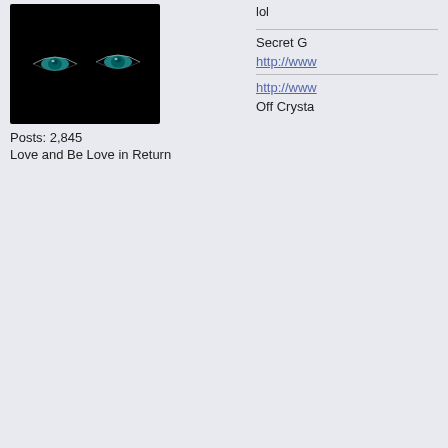[Figure (photo): Dark avatar image showing glowing teal eyes against black background (top post)]
Posts: 2,845
Love and Be Love in Return
lol
Secret G
http://www
http://www
Off Crysta
red_Dragon888
Member
[Figure (photo): Dark avatar image showing glowing teal eyes against black background (second post)]
Posts: 2,845
Love and Be Love in Return
Re
« R
OMG!!!
Gilbert G
http://www
http://www